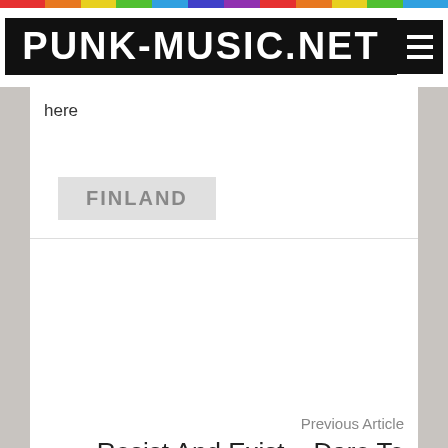PUNK-MUSIC.NET
here
FINLAND
Previous Article
Resist And Exist – Dare To Struggle – Dare To Win EP (1998)
Next Article
ENGLISH DOGS – Mad Punx & English Dogs 1983